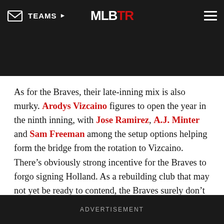TEAMS | MLBTR
As for the Braves, their late-inning mix is also murky. Arodys Vizcaino figures to open the year in the ninth inning, with Jose Ramirez, A.J. Minter and Sam Freeman among the setup options helping form the bridge from the rotation to Vizcaino. There’s obviously strong incentive for the Braves to forgo signing Holland. As a rebuilding club that may not yet be ready to contend, the Braves surely don’t relish the idea of surrendering draft picks to sign a player who rejected a qualifying offer.
ADVERTISEMENT